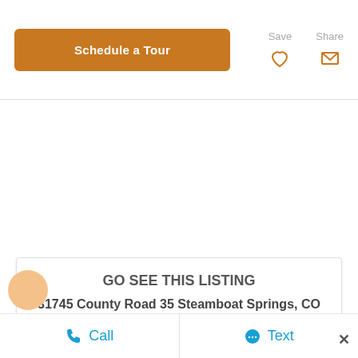Schedule a Tour
Save
Share
GO SEE THIS LISTING
31745 County Road 35 Steamboat Springs, CO 80487
Accept and Close ×
Call
Text